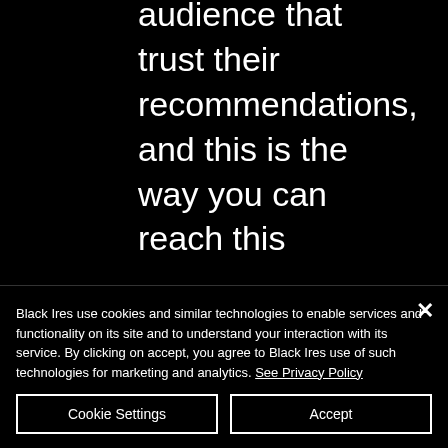audience that trust their recommendations, and this is the way you can reach this audience. Influencers can be Instagrammers, bloggers, vloggers, thought leaders, marketers, and even celebrities. Pick Influencers who already use your products or services or have used similar products in the past. It's important to reach the right audience, not just a large audience, as these are
Black Ires use cookies and similar technologies to enable services and functionality on its site and to understand your interaction with its service. By clicking on accept, you agree to Black Ires use of such technologies for marketing and analytics. See Privacy Policy
Cookie Settings
Accept